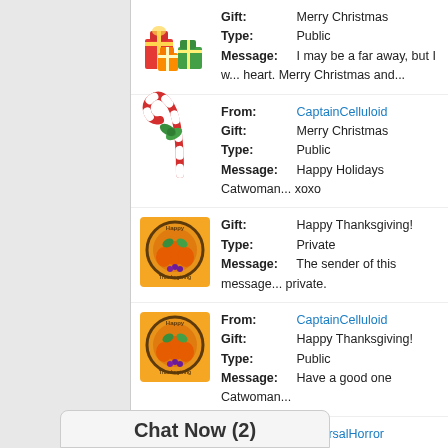[Figure (illustration): Christmas gifts wrapped in colorful paper]
Gift: Merry Christmas
Type: Public
Message: I may be a far away, but I w... heart. Merry Christmas and...
[Figure (illustration): Candy cane with green bow]
From: CaptainCelluloid
Gift: Merry Christmas
Type: Public
Message: Happy Holidays Catwoman... xoxo
[Figure (illustration): Happy Thanksgiving circular stamp illustration with pumpkins]
Gift: Happy Thanksgiving!
Type: Private
Message: The sender of this message... private.
[Figure (illustration): Happy Thanksgiving circular stamp illustration with pumpkins]
From: CaptainCelluloid
Gift: Happy Thanksgiving!
Type: Public
Message: Have a good one Catwoman...
[Figure (illustration): Happy Fall autumn gift image]
From: UniversalHorror
Gift: Happy Autumn...
Chat Now (2)